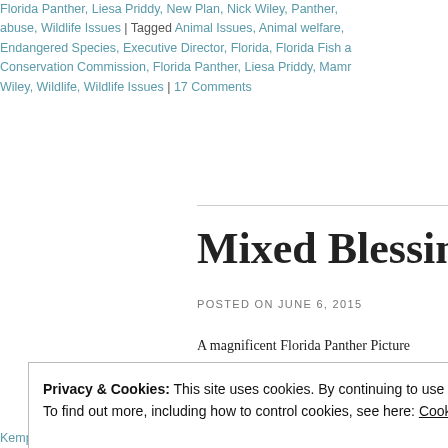Florida Panther, Liesa Priddy, New Plan, Nick Wiley, Panther, abuse, Wildlife Issues | Tagged Animal Issues, Animal welfare, Endangered Species, Executive Director, Florida, Florida Fish a Conservation Commission, Florida Panther, Liesa Priddy, Mamm Wiley, Wildlife, Wildlife Issues | 17 Comments
Mixed Blessings
POSTED ON JUNE 6, 2015
A magnificent Florida Panther Picture credit: U.S. Army Corps of news this morning were at first glance what appeared to be three b After so many wildlife tragedies in the news lately, these were abs
Privacy & Cookies: This site uses cookies. By continuing to use this website, you agree to their use.
To find out more, including how to control cookies, see here: Cookie Policy
Close and accept
Kemp's ridley sea turtle, Nick Wiley, Sea Turtles, UCF, Wildlife